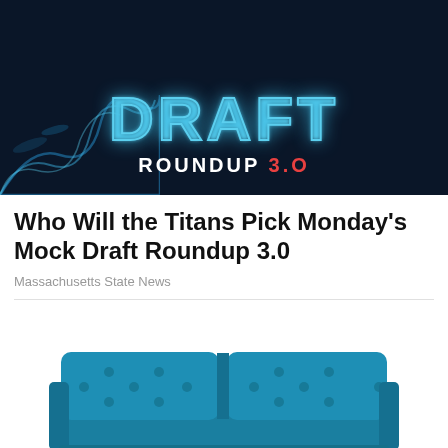[Figure (illustration): NFL Draft Roundup 3.0 banner with dark navy background, glowing cyan DRAFT text, and blue wave/smoke design on left side]
Who Will the Titans Pick Monday's Mock Draft Roundup 3.0
Massachusetts State News
[Figure (photo): Teal/blue tufted sofa/futon with hairpin metal legs on white background]